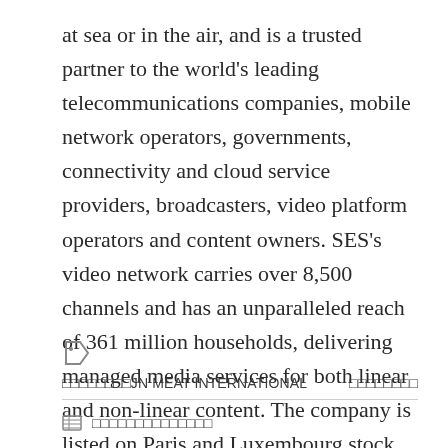at sea or in the air, and is a trusted partner to the world's leading telecommunications companies, mobile network operators, governments, connectivity and cloud service providers, broadcasters, video platform operators and content owners. SES's video network carries over 8,500 channels and has an unparalleled reach of 361 million households, delivering managed media services for both linear and non-linear content. The company is listed on Paris and Luxembourg stock exchanges (Ticker: SESG).
□□□□□□□□JN MEAT INTERNATIONAL    □□□□□□□□
□ □□□□□□□□□□□□□